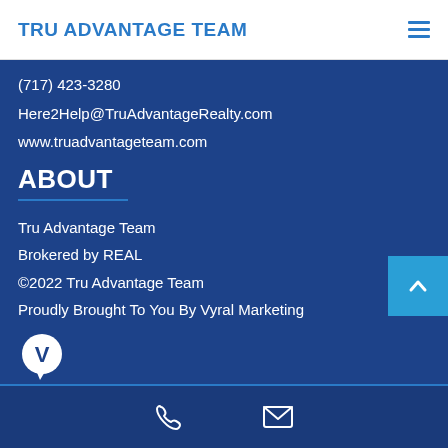TRU ADVANTAGE TEAM
(717) 423-3280
Here2Help@TruAdvantageRealty.com
www.truadvantageteam.com
ABOUT
Tru Advantage Team
Brokered by REAL
©2022 Tru Advantage Team
Proudly Brought To You By Vyral Marketing
[Figure (logo): Vyral Marketing logo — letter V in speech bubble circle]
Phone icon and email icon navigation bar